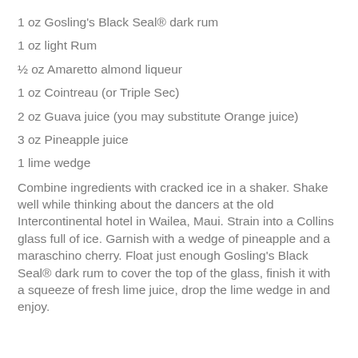1 oz Gosling's Black Seal® dark rum
1 oz light Rum
½ oz Amaretto almond liqueur
1 oz Cointreau (or Triple Sec)
2 oz Guava juice (you may substitute Orange juice)
3 oz Pineapple juice
1 lime wedge
Combine ingredients with cracked ice in a shaker. Shake well while thinking about the dancers at the old Intercontinental hotel in Wailea, Maui. Strain into a Collins glass full of ice. Garnish with a wedge of pineapple and a maraschino cherry. Float just enough Gosling's Black Seal® dark rum to cover the top of the glass, finish it with a squeeze of fresh lime juice, drop the lime wedge in and enjoy.